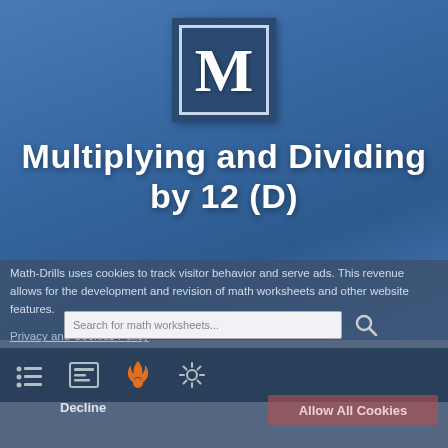[Figure (logo): Math-Drills logo: large M letter inside a double-bordered dark blue square box]
Multiplying and Dividing by 12 (D)
Math-Drills uses cookies to track visitor behavior and serve ads. This revenue allows for the development and revision of math worksheets and other website features.
Privacy and Cookies Policy
[Figure (screenshot): Search bar with placeholder text 'Search for math worksheets...' and a search (magnifying glass) icon]
[Figure (infographic): Navigation bar with four icons: bullet list, newspaper/article, flame (fire), gear/settings]
Decline
Allow All Cookies